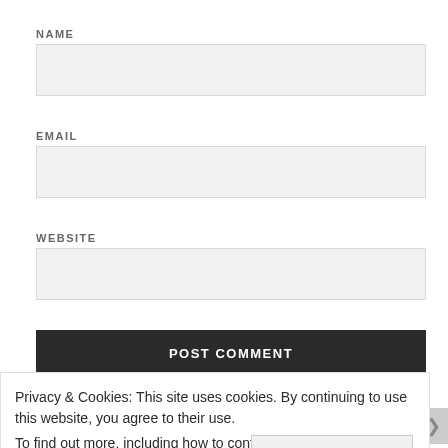NAME
[Figure (other): Empty text input field for NAME]
EMAIL
[Figure (other): Empty text input field for EMAIL]
WEBSITE
[Figure (other): Empty text input field for WEBSITE]
POST COMMENT
Privacy & Cookies: This site uses cookies. By continuing to use this website, you agree to their use.
To find out more, including how to control cookies, see here: Cookie Policy
Close and accept